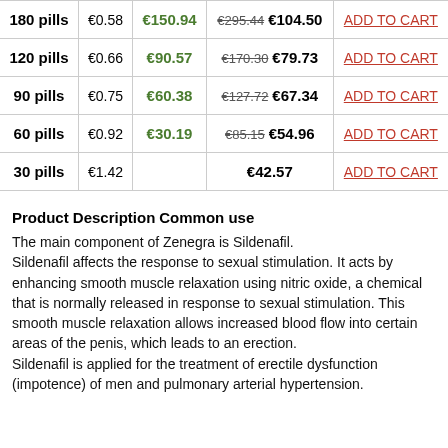|  | Per Pill | Savings | Price |  |
| --- | --- | --- | --- | --- |
| 180 pills | €0.58 | €150.94 | €295.44 €104.50 | ADD TO CART |
| 120 pills | €0.66 | €90.57 | €170.30 €79.73 | ADD TO CART |
| 90 pills | €0.75 | €60.38 | €127.72 €67.34 | ADD TO CART |
| 60 pills | €0.92 | €30.19 | €85.15 €54.96 | ADD TO CART |
| 30 pills | €1.42 |  | €42.57 | ADD TO CART |
Product Description
Common use
The main component of Zenegra is Sildenafil. Sildenafil affects the response to sexual stimulation. It acts by enhancing smooth muscle relaxation using nitric oxide, a chemical that is normally released in response to sexual stimulation. This smooth muscle relaxation allows increased blood flow into certain areas of the penis, which leads to an erection. Sildenafil is applied for the treatment of erectile dysfunction (impotence) of men and pulmonary arterial hypertension.